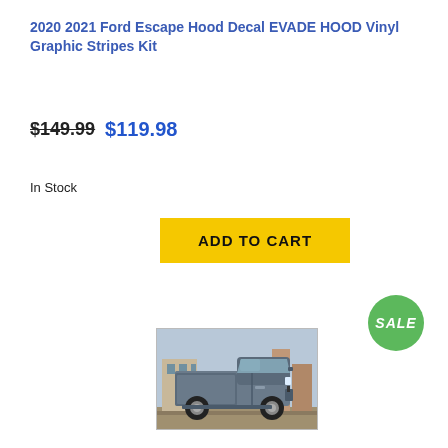2020 2021 Ford Escape Hood Decal EVADE HOOD Vinyl Graphic Stripes Kit
$149.99  $119.98
In Stock
ADD TO CART
[Figure (other): Green circular SALE badge]
[Figure (photo): Side view of a gray Ford pickup truck (Ford F-150) parked in a lot with buildings in the background]